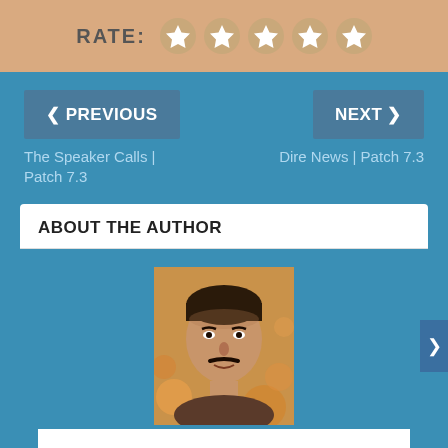[Figure (other): Rating bar with 'RATE:' label and 5 empty star icons on a tan/beige background]
❮ PREVIOUS
NEXT ❯
The Speaker Calls | Patch 7.3
Dire News | Patch 7.3
ABOUT THE AUTHOR
[Figure (photo): Headshot photo of a man with a mustache against a bokeh background]
Medievaldragon
Tomas Hernandez is owner of Blizzplanet.com since 2003. I post news about World of Warcraft